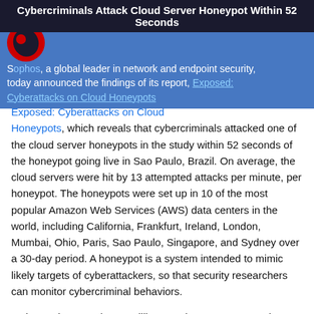Cybercriminals Attack Cloud Server Honeypot Within 52 Seconds
Sophos, a global leader in network and endpoint security, today announced the findings of its report, Exposed: Cyberattacks on Cloud Honeypots, which reveals that cybercriminals attacked one of the cloud server honeypots in the study within 52 seconds of the honeypot going live in Sao Paulo, Brazil. On average, the cloud servers were hit by 13 attempted attacks per minute, per honeypot. The honeypots were set up in 10 of the most popular Amazon Web Services (AWS) data centers in the world, including California, Frankfurt, Ireland, London, Mumbai, Ohio, Paris, Sao Paulo, Singapore, and Sydney over a 30-day period. A honeypot is a system intended to mimic likely targets of cyberattackers, so that security researchers can monitor cybercriminal behaviors.
In the study, more than 5 million attacks were attempted on the global network of honeypots in the 30-day period, demonstrating how cybercriminals are automatically scanning for weak open cloud buckets. If attackers are successful at gaining entry, organizations could be vulnerable to data breaches. Cybercriminals also use breached cloud servers as pivot points to gain access onto other servers or networks.
“The Sophos report, Exposed: Cyberattacks on Cloud Honeypots, identifies the threats organizations are invited to decide globally based